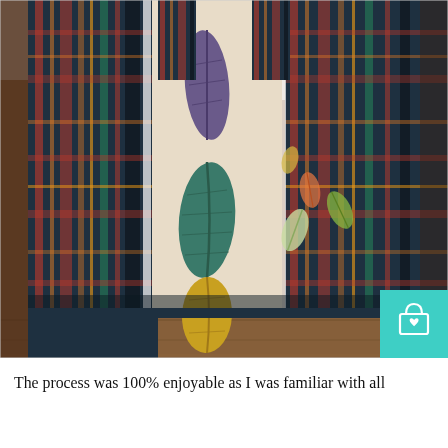[Figure (photo): Close-up photo of a handmade fabric tote bag. The bag has a plaid fabric in dark teal, red, orange, yellow, and black, combined with a cream/beige panel featuring printed autumn leaf designs in purple, teal, and gold. The bag is photographed from above on a wooden surface, showing the handles and front panel. A teal shopping bag icon with a heart is overlaid in the bottom-right corner of the photo.]
The process was 100% enjoyable as I was familiar with all